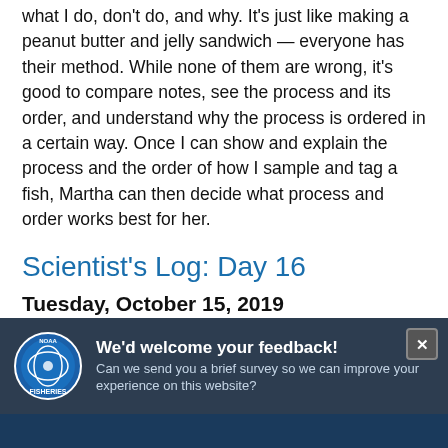what I do, don't do, and why. It's just like making a peanut butter and jelly sandwich — everyone has their method. While none of them are wrong, it's good to compare notes, see the process and its order, and understand why the process is ordered in a certain way. Once I can show and explain the process and the order of how I sample and tag a fish, Martha can then decide what process and order works best for her.
Scientist's Log: Day 16
Tuesday, October 15, 2019
Went out again with Martha and Johannes, back to our new favorite spot, and we were rewarded with only a single fish — another 70 centimeter salmon. The fish
[Figure (other): NOAA Fisheries feedback survey overlay banner with logo and close button]